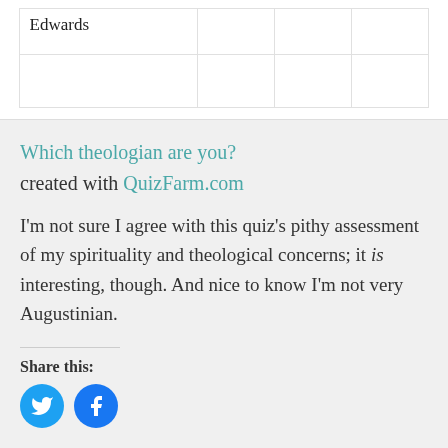| Edwards |  |  |  |
Which theologian are you?
created with QuizFarm.com
I'm not sure I agree with this quiz's pithy assessment of my spirituality and theological concerns; it is interesting, though. And nice to know I'm not very Augustinian.
Share this: